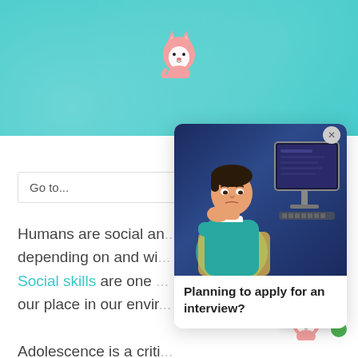[Figure (screenshot): Educational website screenshot with teal background, showing an article about social skills with a popup card featuring an illustrated person at a computer and the title 'Planning to apply for an interview?'. Fox mascot visible top center and bottom right. 'Go to...' navigation box. 'Yes' button with gray dot. Green dot bottom right.]
Go to...
Humans are social animals, depending on and wi... Social skills are one of... our place in our environment.
Adolescence is a critical period because the brains of adolescents are more receptive to new information. Social-emotional skills can be taught to adolescents in school. Learning social skills with parents is also an effective way...
Planning to apply for an interview?